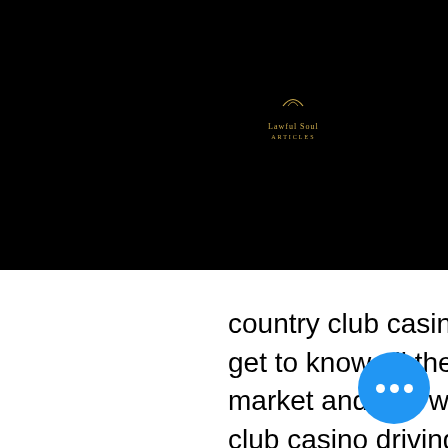[Figure (screenshot): Black navigation bar with a logo reading 'Lawful Soul' in gold and a white hamburger menu icon on the right]
nds.
ears.
forms
country club casino driving range. Read this blog to get to know all the trending stylus products on the market and see which one suits you best, country club casino driving range.
If you love to play online slots, then you most likely want a good variety of casino games that will have the selection of whatever you're in the mood for, country club casino driving range. At Liberty Slots It's all about delivering a robust gaming experience that will entertain any level of slots player for hours. And that means taking them on a slots journey with universal themes, fun characters,